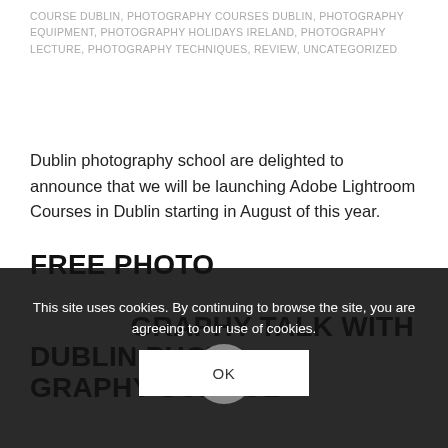COURSE DUBLIN, PHOTOGRAPHY COURSES DUBLIN, PHOTOGRAPHY EQUIPMENT, PHOTOGRAPHY HOLIDAYS IRELAND, PHOTOGRAPHY LECTURE, PHOTOGRAPHY TECHNIQUES, REVIEW, UNCATEGORIZED
Dublin photography school are delighted to announce that we will be launching Adobe Lightroom Courses in Dublin starting in August of this year.
0 Comments / May 16, 2015
[Figure (illustration): Gray circle with pencil/edit icon inside, positioned above a card outline]
This site uses cookies. By continuing to browse the site, you are agreeing to our use of cookies.
OK
FREE PHOTOGRAPHY TALK WITH DUBLIN PHOTOGRAPHY SCHOOL